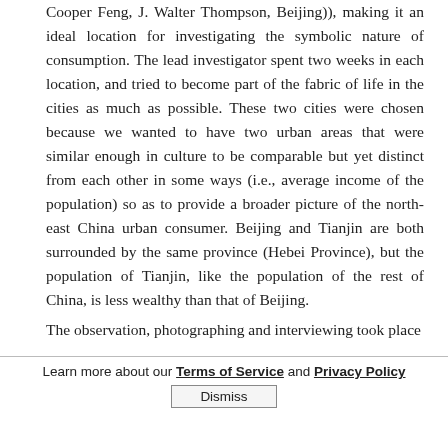Cooper Feng, J. Walter Thompson, Beijing)), making it an ideal location for investigating the symbolic nature of consumption. The lead investigator spent two weeks in each location, and tried to become part of the fabric of life in the cities as much as possible. These two cities were chosen because we wanted to have two urban areas that were similar enough in culture to be comparable but yet distinct from each other in some ways (i.e., average income of the population) so as to provide a broader picture of the north-east China urban consumer. Beijing and Tianjin are both surrounded by the same province (Hebei Province), but the population of Tianjin, like the population of the rest of China, is less wealthy than that of Beijing.
The observation, photographing and interviewing took place
Learn more about our Terms of Service and Privacy Policy
Dismiss